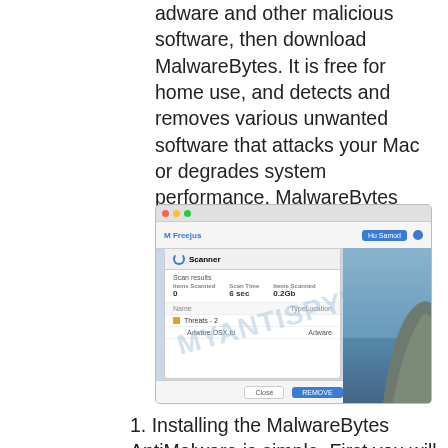adware and other malicious software, then download MalwareBytes. It is free for home use, and detects and removes various unwanted software that attacks your Mac or degrades system performance. MalwareBytes can remove adware, toolbars, PUPs and browser hijackers as well as malicious software, including ransomware and trojans.
[Figure (screenshot): Screenshot of MalwareBytes AntiMalware application showing the Scanner panel with Scan results, listing threats found. Watermark 'MYANTISPYWARE' visible. Right side shows a coastal cliff photo.]
1. Installing the MalwareBytes AntiMalware is simple. First you will need to download MalwareBytes AntiMalware from the link below.